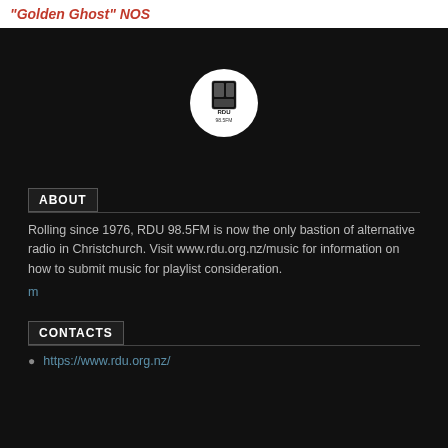"Golden Ghost" NOS
[Figure (logo): RDU 98.5FM circular logo with stylized text and graphic in black and white on a white circle, set against a dark background]
ABOUT
Rolling since 1976, RDU 98.5FM is now the only bastion of alternative radio in Christchurch. Visit www.rdu.org.nz/music for information on how to submit music for playlist consideration.
m
CONTACTS
https://www.rdu.org.nz/